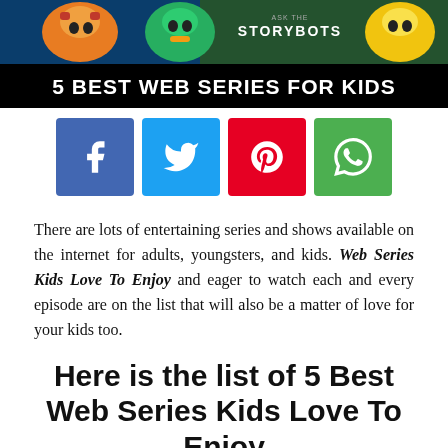[Figure (illustration): Banner image for '5 Best Web Series For Kids' showing colorful cartoon characters including StoryBots, with a dark header bar containing bold white text '5 BEST WEB SERIES FOR KIDS']
[Figure (infographic): Row of four social sharing buttons: Facebook (blue), Twitter (cyan), Pinterest (red), WhatsApp (green)]
There are lots of entertaining series and shows available on the internet for adults, youngsters, and kids. Web Series Kids Love To Enjoy and eager to watch each and every episode are on the list that will also be a matter of love for your kids too.
Here is the list of 5 Best Web Series Kids Love To Enjoy
Word Party